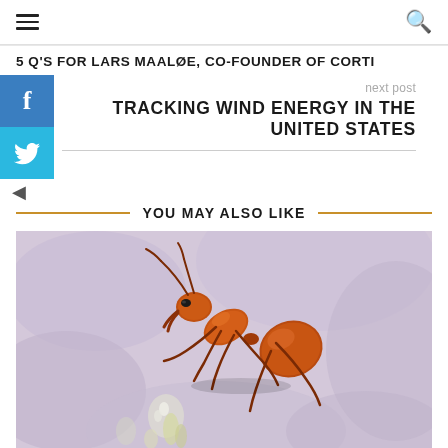hamburger menu | search icon
5 Q'S FOR LARS MAALØE, CO-FOUNDER OF CORTI
next post
TRACKING WIND ENERGY IN THE UNITED STATES
YOU MAY ALSO LIKE
[Figure (photo): Close-up macro photo of an orange/red ant on a flower, with a blurred purple background]